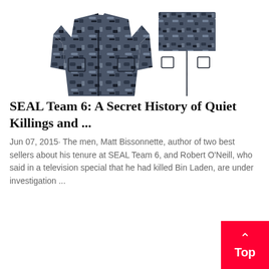[Figure (photo): Two camouflage military items: a digital camo jacket/top on the left and camouflage pants on the right, displayed against a white background]
SEAL Team 6: A Secret History of Quiet Killings and ...
Jun 07, 2015· The men, Matt Bissonnette, author of two best sellers about his tenure at SEAL Team 6, and Robert O'Neill, who said in a television special that he had killed Bin Laden, are under investigation ...